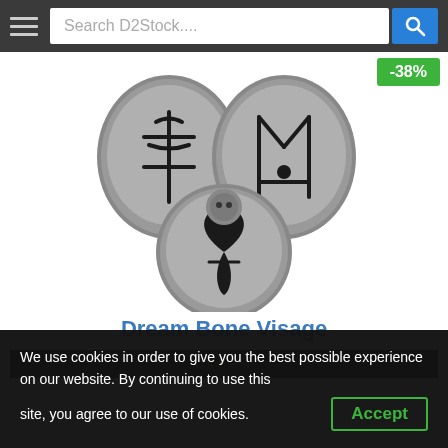Search D2Stock....
[Figure (photo): Three stone rune-etched pieces arranged in a triangular pattern forming the Dream Bone Visage item from Diablo 2, with runic symbols carved into each stone piece]
-38%
Dream Bone Visage
Dream
We use cookies in order to give you the best possible experience on our website. By continuing to use this site, you agree to our use of cookies.
Accept
Read More...